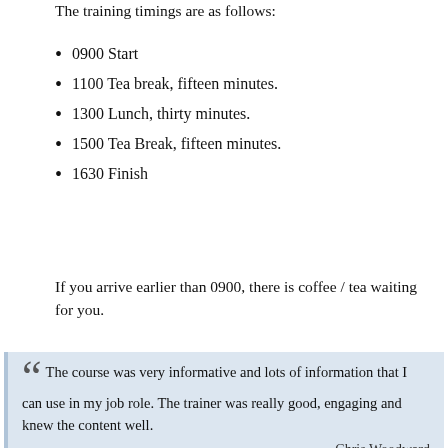The training timings are as follows:
0900 Start
1100 Tea break, fifteen minutes.
1300 Lunch, thirty minutes.
1500 Tea Break, fifteen minutes.
1630 Finish
If you arrive earlier than 0900, there is coffee / tea waiting for you.
The course was very informative and lots of information that I can use in my job role. The trainer was really good, engaging and knew the content well. -- Chris Woodward, Turn IT On
Live Online Interactive Learning via Webinars
Join our Live Online Goal Setting, Communication and Conflict Training Webinars via Zoom or Teams.